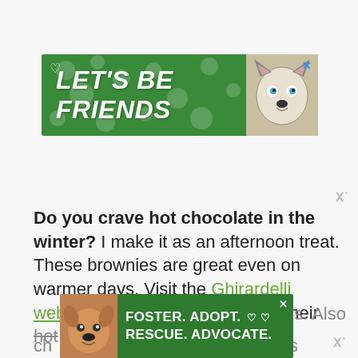[Figure (advertisement): Green banner ad reading LET'S BE FRIENDS with a husky dog image on the right and a heart icon on the left. Close X button in top right corner.]
Do you crave hot chocolate in the winter? I make it as an afternoon treat. These brownies are great even on warmer days. Visit the Ghirardelli website for more information on their hot ch... n is...
[Figure (advertisement): Green banner ad reading FOSTER. ADOPT. RESCUE. ADVOCATE. with a pit bull dog image on the left and heart icons. Close X button in top right corner.]